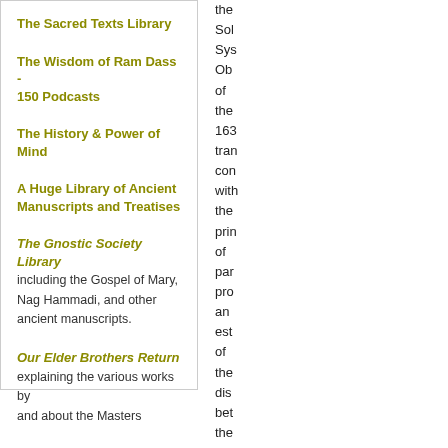The Sacred Texts Library
The Wisdom of Ram Dass - 150 Podcasts
The History & Power of Mind
A Huge Library of Ancient Manuscripts and Treatises
The Gnostic Society Library including the Gospel of Mary, Nag Hammadi, and other ancient manuscripts.
Our Elder Brothers Return explaining the various works by and about the Masters
the Sol Sys Ob of the 163 tran con with the pri of pa pro an est of the dis bet the Su and the E